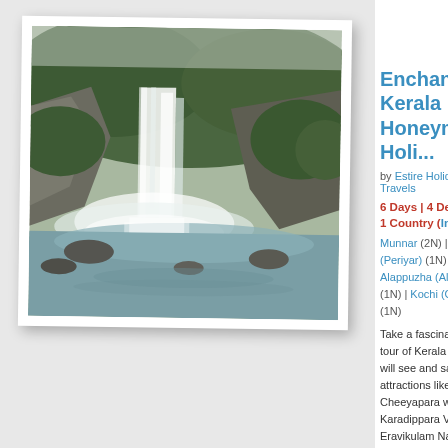[Figure (photo): Waterfall surrounded by lush green forest/hills, viewed from above, with mist rising from the base. Kerala waterfall landscape photo in a white bordered frame.]
[Figure (logo): Estire Holidays & Travels logo with palm tree and sun icon above stylized text 'Estire HOLIDAYS & TRAVELS']
Enchanting Kerala Honeymoon Holi...
by Estire Holidays & Travels
6 Days | 4 Destinations | 1 Country (India)
Munnar (2N) | Thekkady (Periyar) (1N) | Alappuzha (Alleppey) (1N) | Kochi (Cochin) (1N)
Take a fascinating 6 day tour of Kerala where you will see and savor attractions like Cheeyapara waterfalls, Karadippara View Point, Eravikulam National Park, Tea museum, Blossom
Type
Priva...
From
Koc...
Starting Pri...
Rs.
Sen...